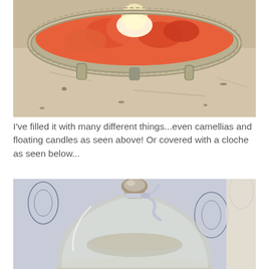[Figure (photo): Close-up photo of a decorative silver footed bowl filled with orange/pink camellias and a floating white candle, placed on a worn white painted surface.]
I've filled it with many different things...even camellias and floating candles as seen above! Or covered with a cloche as seen below...
[Figure (photo): Photo of a glass cloche with a ribbon tied at its neck, placed in front of a blue and white toile background.]